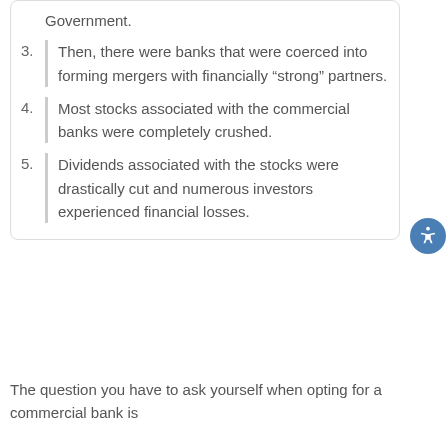Government.
3. Then, there were banks that were coerced into forming mergers with financially “strong” partners.
4. Most stocks associated with the commercial banks were completely crushed.
5. Dividends associated with the stocks were drastically cut and numerous investors experienced financial losses.
The question you have to ask yourself when opting for a commercial bank is